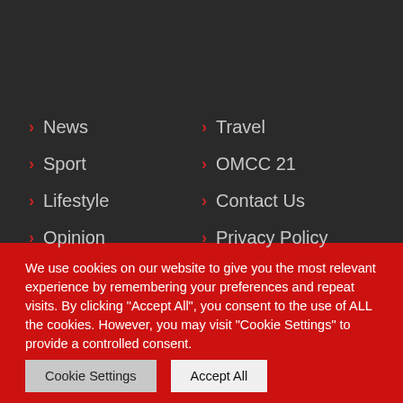> News
> Travel
> Sport
> OMCC 21
> Lifestyle
> Contact Us
> Opinion
> Privacy Policy
We use cookies on our website to give you the most relevant experience by remembering your preferences and repeat visits. By clicking "Accept All", you consent to the use of ALL the cookies. However, you may visit "Cookie Settings" to provide a controlled consent.
Cookie Settings | Accept All